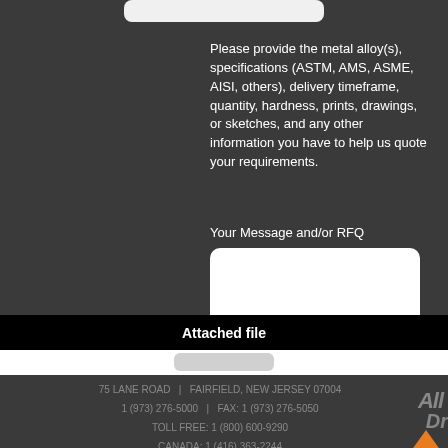[Figure (screenshot): Input bar at top of dark form area]
Please provide the metal alloy(s), specifications (ASTM, AMS, ASME, AISI, others), delivery timeframe, quantity, hardness, prints, drawings, or sketches, and any other information you have to help us quote your requirements.
Your Message and/or RFQ
[Figure (screenshot): White rounded text area input box for message/RFQ]
Attached file
[Figure (screenshot): Attach file button]
75 LANE ROAD   |   FAIRFIELD, NEW JERSEY 07004
1 (973) 276-5000   |   FAX: 1 (973) 276-5050
TOLL FREE: 1 (800) 600-9290
CANADA: 1 (416) 363-2244